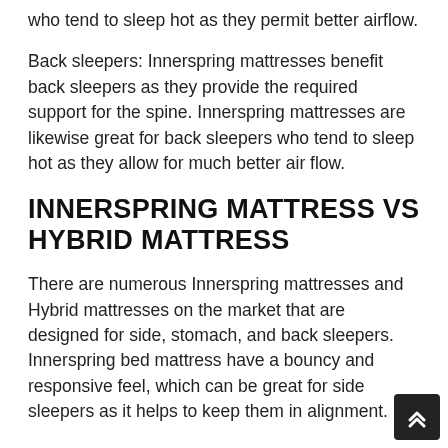who tend to sleep hot as they permit better airflow.
Back sleepers: Innerspring mattresses benefit back sleepers as they provide the required support for the spine. Innerspring mattresses are likewise great for back sleepers who tend to sleep hot as they allow for much better air flow.
INNERSPRING MATTRESS VS HYBRID MATTRESS
There are numerous Innerspring mattresses and Hybrid mattresses on the market that are designed for side, stomach, and back sleepers. Innerspring bed mattress have a bouncy and responsive feel, which can be great for side sleepers as it helps to keep them in alignment.
ARE HYBRID MATTRESS AND